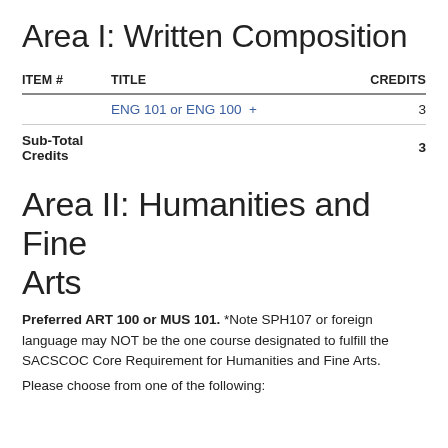Area I: Written Composition
| ITEM # | TITLE | CREDITS |
| --- | --- | --- |
|  | ENG 101 or ENG 100  + | 3 |
| Sub-Total Credits |  | 3 |
Area II: Humanities and Fine Arts
Preferred ART 100 or MUS 101. *Note SPH107 or foreign language may NOT be the one course designated to fulfill the SACSCOC Core Requirement for Humanities and Fine Arts.
Please choose from one of the following: